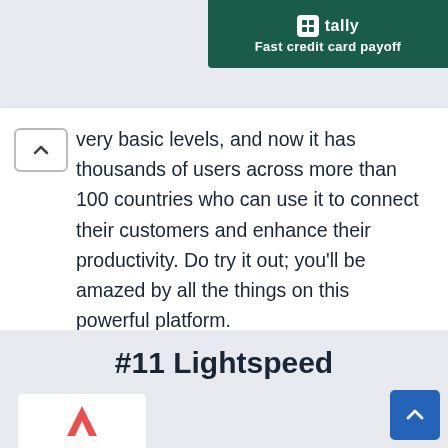[Figure (screenshot): Tally app advertisement banner — dark green background with Tally logo and text 'Fast credit card payoff']
very basic levels, and now it has thousands of users across more than 100 countries who can use it to connect their customers and enhance their productivity. Do try it out; you'll be amazed by all the things on this powerful platform.
SHOW DETAILS
#11 Lightspeed
[Figure (logo): Lightspeed logo preview at bottom left — white card with red triangle/arrow logo]